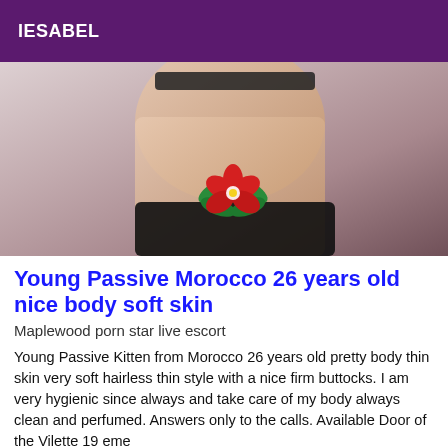IESABEL
[Figure (photo): Cropped photo of a person's torso wearing black lingerie, with a flower emoji overlay]
Young Passive Morocco 26 years old nice body soft skin
Maplewood porn star live escort
Young Passive Kitten from Morocco 26 years old pretty body thin skin very soft hairless thin style with a nice firm buttocks. I am very hygienic since always and take care of my body always clean and perfumed. Answers only to the calls. Available Door of the Vilette 19 eme